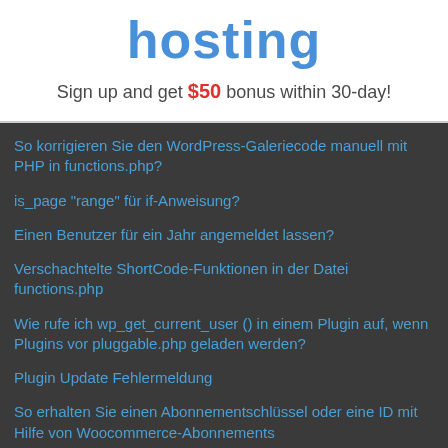hosting
Sign up and get $50 bonus within 30-day!
So korrigieren Sie den WordPress-Galeriecode manuell mit PHP in functions.php?
is_page "range" für if-Anweisung?
Einen Benutzer für ein Jahr angemeldet lassen?
Verschachtelte ShortCode-Funktionen in der Datei functions.php
Wie rufe ich wp_get_current_user () in einem Plugin auf, wenn Plugins vor pluggable.php geladen werden?
Plugin Update Fehlermeldung
So erhalten Sie einen Abonnementschlüssel oder eine ID mit Hilfe von Woocommerce-Abonnements